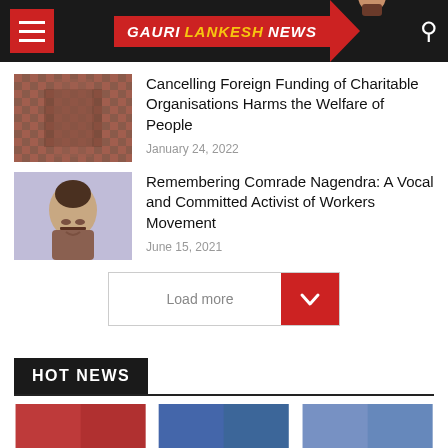Gauri Lankesh News
Cancelling Foreign Funding of Charitable Organisations Harms the Welfare of People
January 24, 2022
Remembering Comrade Nagendra: A Vocal and Committed Activist of Workers Movement
June 15, 2021
Load more
HOT NEWS